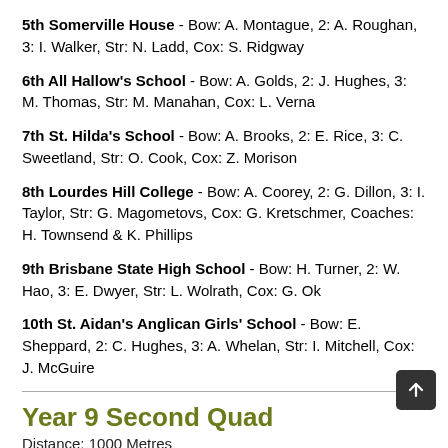5th Somerville House - Bow: A. Montague, 2: A. Roughan, 3: I. Walker, Str: N. Ladd, Cox: S. Ridgway
6th All Hallow's School - Bow: A. Golds, 2: J. Hughes, 3: M. Thomas, Str: M. Manahan, Cox: L. Verna
7th St. Hilda's School - Bow: A. Brooks, 2: E. Rice, 3: C. Sweetland, Str: O. Cook, Cox: Z. Morison
8th Lourdes Hill College - Bow: A. Coorey, 2: G. Dillon, 3: I. Taylor, Str: G. Magometovs, Cox: G. Kretschmer, Coaches: H. Townsend & K. Phillips
9th Brisbane State High School - Bow: H. Turner, 2: W. Hao, 3: E. Dwyer, Str: L. Wolrath, Cox: G. Ok
10th St. Aidan's Anglican Girls' School - Bow: E. Sheppard, 2: C. Hughes, 3: A. Whelan, Str: I. Mitchell, Cox: J. McGuire
Year 9 Second Quad
Distance: 1000 Metres